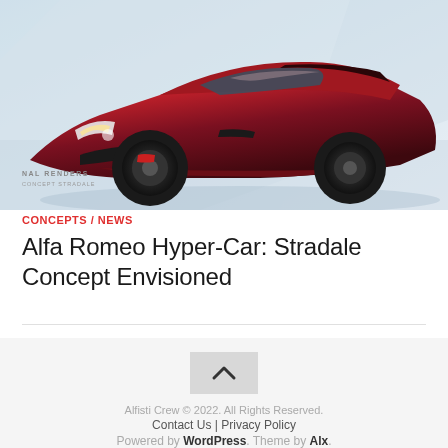[Figure (photo): Red Alfa Romeo concept hypercar (Stradale Concept) render viewed from front-side angle, with blurred light gray background. Watermark text: 'NAL RENDERS / CONCEPT STRADALE' in lower left.]
CONCEPTS / NEWS
Alfa Romeo Hyper-Car: Stradale Concept Envisioned
Alfisti Crew © 2022. All Rights Reserved. Contact Us | Privacy Policy Powered by WordPress. Theme by Alx.